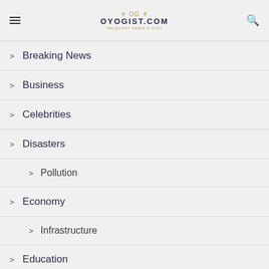OYOGIST.COM
Breaking News
Business
Celebrities
Disasters
Pollution
Economy
Infrastructure
Education
Entertainment